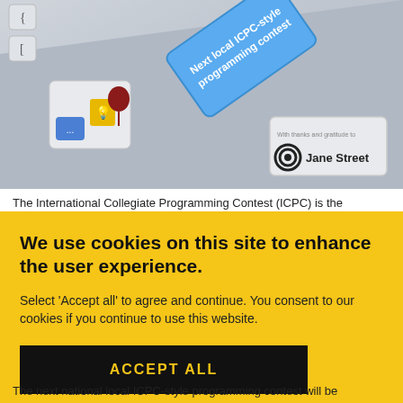[Figure (photo): Keyboard keys including a blue key labeled 'Next local ICPC-style programming contest' and a Jane Street logo key, with programming-themed icon keys]
The International Collegiate Programming Contest (ICPC) is the
We use cookies on this site to enhance the user experience.
Select 'Accept all' to agree and continue. You consent to our cookies if you continue to use this website.
ACCEPT ALL
The next national local ICPC-style programming contest will be